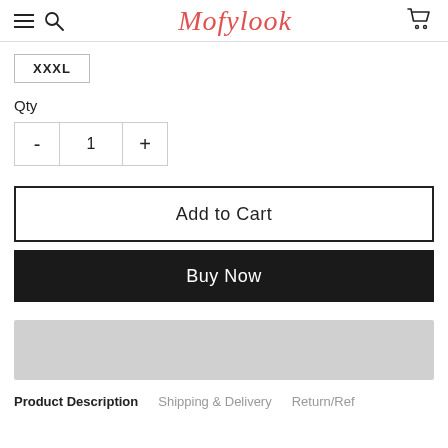Mofylook
XXXL
Qty
- 1 +
Add to Cart
Buy Now
[Figure (other): Gray placeholder bar]
Product Description   Shipping & Delivery   Return/Ref